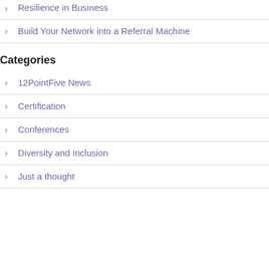Resilience in Business
Build Your Network into a Referral Machine
Categories
12PointFive News
Certification
Conferences
Diversity and Inclusion
Just a thought